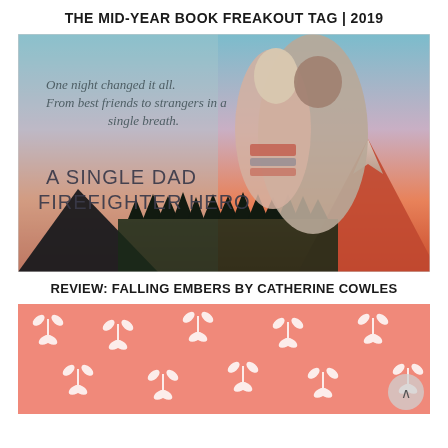THE MID-YEAR BOOK FREAKOUT TAG | 2019
[Figure (illustration): Book cover for 'A Single Dad Firefighter Hero' showing a couple embracing with mountains and a sunset in the background. Text reads: 'One night changed it all. From best friends to strangers in a single breath.']
REVIEW: FALLING EMBERS BY CATHERINE COWLES
[Figure (illustration): Pink floral/botanical pattern background with white leaf/branch motifs on a salmon/coral pink background.]